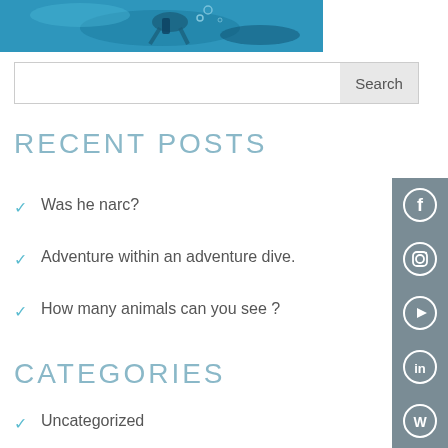[Figure (photo): Scuba diver underwater with camera equipment, blue water background]
Search
RECENT POSTS
Was he narc?
Adventure within an adventure dive.
How many animals can you see ?
CATEGORIES
Uncategorized
[Figure (infographic): Social media sidebar with Facebook, Instagram, YouTube, LinkedIn, and WordPress icons on grey background]